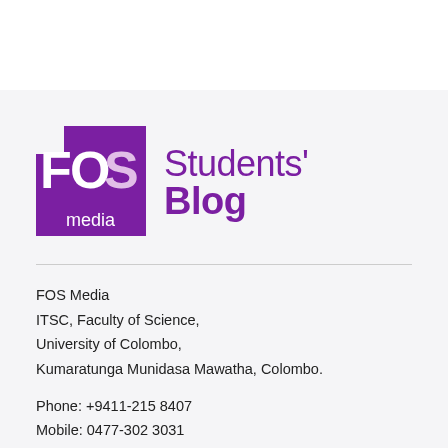[Figure (logo): FOS Media Students' Blog logo — purple square with white FOS lettering and 'media' text, beside the text 'Students' Blog' in purple]
FOS Media
ITSC, Faculty of Science,
University of Colombo,
Kumaratunga Munidasa Mawatha, Colombo.

Phone: +9411-215 8407
Mobile: 0477-302 3031